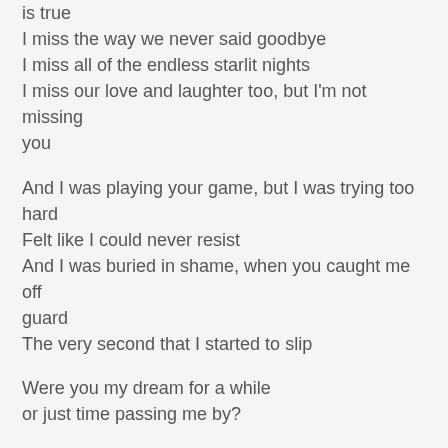is true
I miss the way we never said goodbye
I miss all of the endless starlit nights
I miss our love and laughter too, but I'm not missing you
And I was playing your game, but I was trying too hard
Felt like I could never resist
And I was buried in shame, when you caught me off guard
The very second that I started to slip
Were you my dream for a while
or just time passing me by?
If it hurts to hear at all, I don't feel a thing now that you're gone
I wish I could lie as well as you, but all I have left to say is true
I miss the way we never said goodbye
I miss all of the endless starlit nights